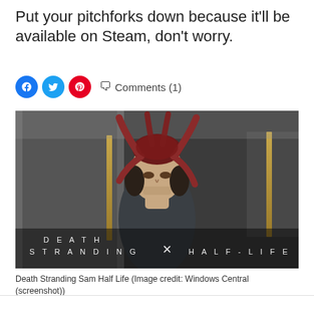Put your pitchforks down because it'll be available on Steam, don't worry.
Comments (1)
[Figure (screenshot): Death Stranding × Half-Life crossover screenshot showing a man with a creature on his head, with 'DEATH STRANDING × HALF-LIFE' text overlay]
Death Stranding Sam Half Life (Image credit: Windows Central (screenshot))